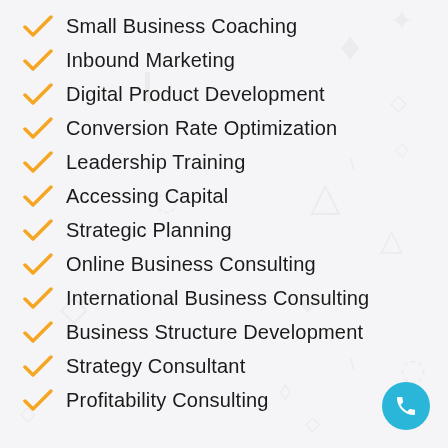Small Business Coaching
Inbound Marketing
Digital Product Development
Conversion Rate Optimization
Leadership Training
Accessing Capital
Strategic Planning
Online Business Consulting
International Business Consulting
Business Structure Development
Strategy Consultant
Profitability Consulting